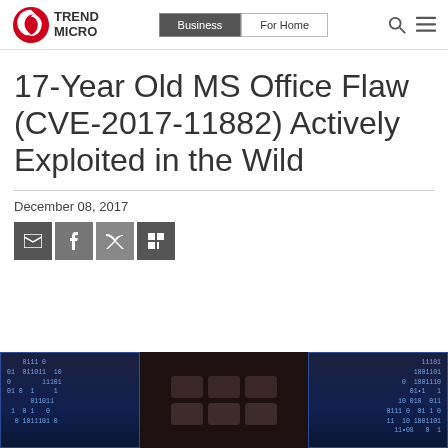Trend Micro | Business | For Home
17-Year Old MS Office Flaw (CVE-2017-11882) Actively Exploited in the Wild
December 08, 2017
[Figure (screenshot): Screenshot of Trend Micro website article header with navigation bar, article title, date, social sharing buttons, and a dark binary code/cybersecurity image at the bottom]